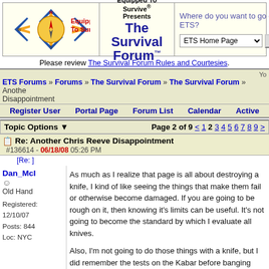[Figure (logo): Equipped To Survive compass logo with text]
Equipped To Survive® Presents The Survival Forum™
Where do you want to go on ETS? ETS Home Page [dropdown] Go
Please review The Survival Forum Rules and Courtesies.
Yo ETS Forums » Forums » The Survival Forum » The Survival Forum » Another Chris Reeve Disappointment
Register User   Portal Page   Forum List   Calendar   Active
Topic Options ▼   Page 2 of 9 < 1 2 3 4 5 6 7 8 9
Re: Another Chris Reeve Disappointment #136614 - 06/18/08 05:26 PM [Re: ]
Dan_McI
☺
Old Hand
Registered: 12/10/07
Posts: 844
Loc: NYC
As much as I realize that page is all about destroying a knife, I kind of like seeing the things that make them fail or otherwise become damaged. If you are going to be rough on it, then knowing it's limits can be useful. It's not going to become the standard by which I evaluate all knives.

Also, I'm not going to do those things with a knife, but I did remember the tests on the Kabar before banging mine into tree last weekend.
Top